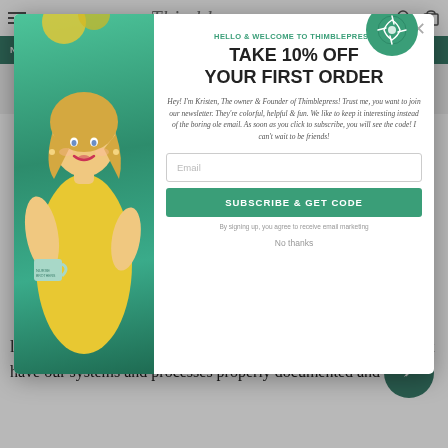Thimblepress navigation bar with hamburger menu, logo, search and cart icons
NEW   GREETING CARDS   CELEBRATION   ACCESSORIES   L...
[Figure (screenshot): Modal popup on Thimblepress website with photo of woman (Kristen) in yellow top holding a teal mug, against teal background. Modal contains welcome message and 10% off offer.]
HELLO & WELCOME TO THIMBLEPRESS
TAKE 10% OFF
YOUR FIRST ORDER
Hey! I'm Kristen, The owner & Founder of Thimblepress! Trust me, you want to join our newsletter. They're colorful, helpful & fun. We like to keep it interesting instead of the boring ole email. As soon as you click to subscribe, you will see the code! I can't wait to be friends!
Email
SUBSCRIBE & GET CODE
By signing up, you agree to receive email marketing
No thanks
Chat with us
le... nitely with a ball and chain) me tell you, because we do not have our systems and processes properly documented and